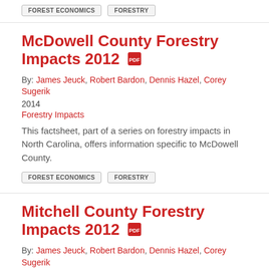FOREST ECONOMICS   FORESTRY
McDowell County Forestry Impacts 2012
By: James Jeuck, Robert Bardon, Dennis Hazel, Corey Sugerik
2014
Forestry Impacts
This factsheet, part of a series on forestry impacts in North Carolina, offers information specific to McDowell County.
FOREST ECONOMICS   FORESTRY
Mitchell County Forestry Impacts 2012
By: James Jeuck, Robert Bardon, Dennis Hazel, Corey Sugerik
2014